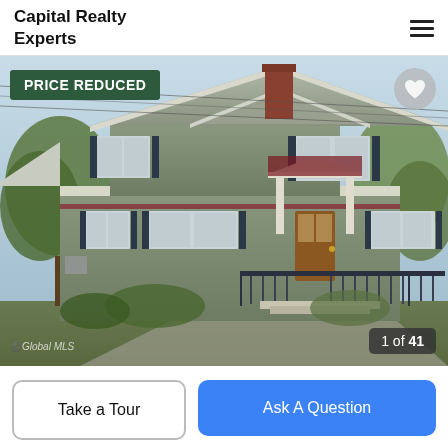Capital Realty Experts
[Figure (photo): Exterior photo of a two-story gray clapboard colonial house with dark shutters, red entry accent, front porch with railings, chimney, and surrounding trees on a sunny day. Badge overlay reads PRICE REDUCED. Heart/favorite icon top right. Counter shows 1 of 41.]
Take a Tour
Ask A Question